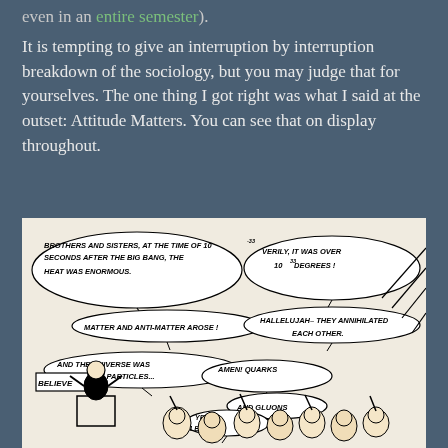even in an entire semester).
It is tempting to give an interruption by interruption breakdown of the sociology, but you may judge that for yourselves. The one thing I got right was what I said at the outset: Attitude Matters. You can see that on display throughout.
[Figure (illustration): A hand-drawn cartoon showing a preacher at a pulpit with a 'BELIEVE' sign, speaking to a congregation with speech bubbles referencing physics concepts from the Big Bang: '10^-33 seconds after the big bang', 'heat was enormous', 'over 10^32 degrees', 'matter and anti-matter arose', 'they annihilated each other', 'universe was filled with particles', 'quarks and gluons', 'yea, leptons'. The audience responds with 'Amen!' in enthusiasm.]